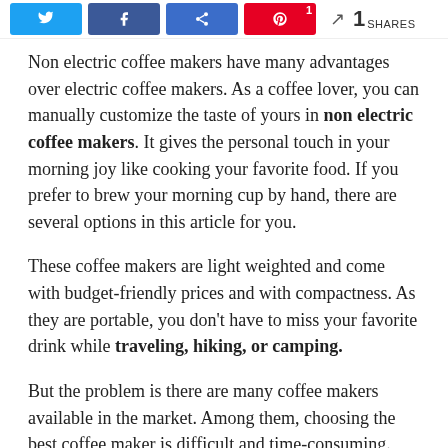Share buttons row with Twitter, Facebook, Share, Pinterest buttons and 1 SHARES
Non electric coffee makers have many advantages over electric coffee makers. As a coffee lover, you can manually customize the taste of yours in non electric coffee makers. It gives the personal touch in your morning joy like cooking your favorite food. If you prefer to brew your morning cup by hand, there are several options in this article for you.
These coffee makers are light weighted and come with budget-friendly prices and with compactness. As they are portable, you don't have to miss your favorite drink while traveling, hiking, or camping.
But the problem is there are many coffee makers available in the market. Among them, choosing the best coffee maker is difficult and time-consuming.
For this reason, we researched a lot for a couple of